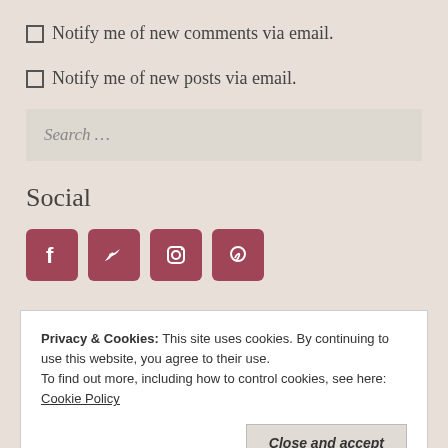☐ Notify me of new comments via email.
☐ Notify me of new posts via email.
Search …
Social
[Figure (illustration): Four social media icons (Facebook, Twitter, Instagram, Pinterest) as rounded square buttons in dark rose/mauve color]
Privacy & Cookies: This site uses cookies. By continuing to use this website, you agree to their use.
To find out more, including how to control cookies, see here: Cookie Policy
Close and accept
Select Month